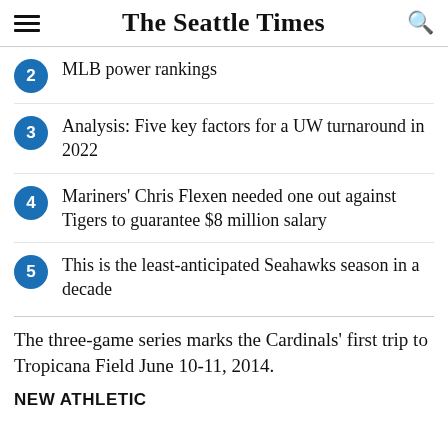The Seattle Times
2 MLB power rankings
3 Analysis: Five key factors for a UW turnaround in 2022
4 Mariners' Chris Flexen needed one out against Tigers to guarantee $8 million salary
5 This is the least-anticipated Seahawks season in a decade
The three-game series marks the Cardinals' first trip to Tropicana Field June 10-11, 2014.
NEW ATHLETIC